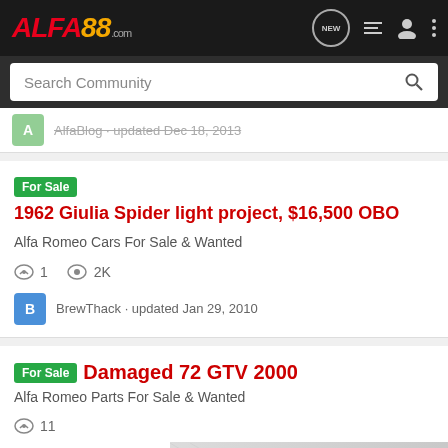ALFA88.com
Search Community
AlfaBlog · updated Dec 18, 2013
For Sale 1962 Giulia Spider light project, $16,500 OBO
Alfa Romeo Cars For Sale & Wanted
1  2K
BrewThack · updated Jan 29, 2010
For Sale Damaged 72 GTV 2000
Alfa Romeo Parts For Sale & Wanted
11
cal
[Figure (illustration): Advertisement banner for mrfiat.com showing a red Alfa Romeo Spider car with text 'BEST ONLINE SOURCE FOR ALFA ROMEO PARTS' and 'mrfiat.com']